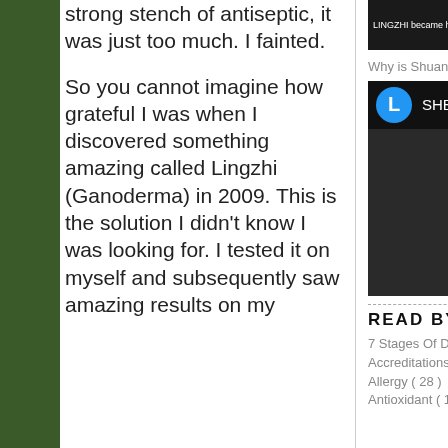strong stench of antiseptic, it was just too much. I fainted.
So you cannot imagine how grateful I was when I discovered something amazing called Lingzhi (Ganoderma) in 2009. This is the solution I didn't know I was looking for. I tested it on myself and subsequently saw amazing results on my
[Figure (screenshot): Top portion of a video thumbnail with dark image and white text overlay]
Why is Shuang Hor's Lingzhi Special?
[Figure (screenshot): YouTube video embed showing SHB English channel with play button, blue avatar with L, dark background with stone/mushroom imagery]
READ BY CATEGORY
7 Stages Of Disease ( 2 )
Accreditations And Endorsements For Lingzhi ( 4 )
Allergy ( 28 )
Antioxidant ( 10 )